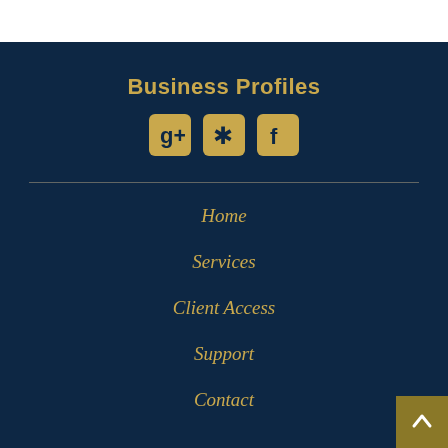Business Profiles
[Figure (logo): Three social media icons: Google+, Yelp, and Facebook, rendered in gold on a navy background]
Home
Services
Client Access
Support
Contact